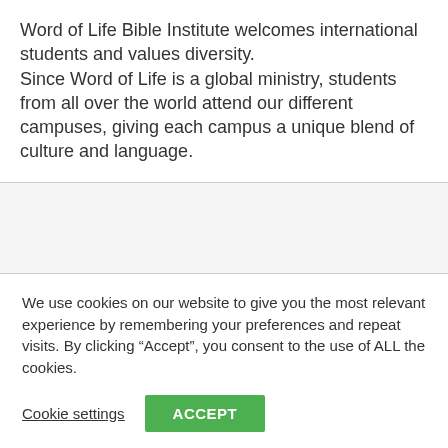Word of Life Bible Institute welcomes international students and values diversity. Since Word of Life is a global ministry, students from all over the world attend our different campuses, giving each campus a unique blend of culture and language.
We use cookies on our website to give you the most relevant experience by remembering your preferences and repeat visits. By clicking “Accept”, you consent to the use of ALL the cookies.
Cookie settings
ACCEPT